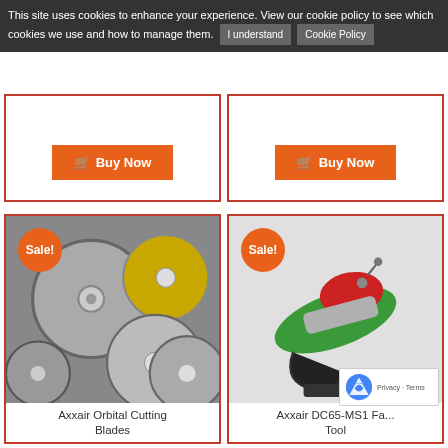This site uses cookies to enhance your experience. View our cookie policy to see which cookies we use and how to manage them. [I understand] [Cookie Policy]
[Figure (photo): Top-left product card showing a Buy Now button on an orange background, product image area white]
[Figure (photo): Top-right product card showing a Buy Now button on an orange background, product image area white]
[Figure (photo): Axxair Orbital Cutting Blades - circular cutting blades, metallic, various sizes, with Sale! badge]
Axxair Orbital Cutting Blades
[Figure (photo): Axxair DC65-MS1 Fa... Tool - green and red power tool, with Sale! badge]
Axxair DC65-MS1 Fa... Tool